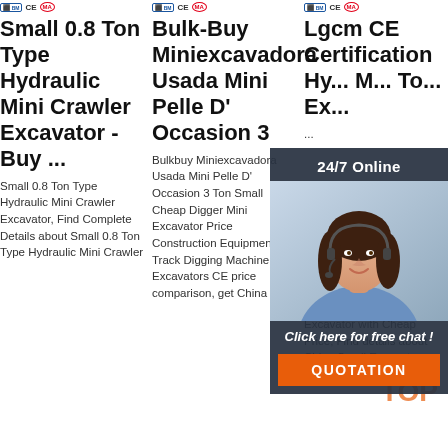[Figure (screenshot): Product listing page with three columns of mini excavator products. Each column shows certification badges (blue icon, CE, MA), a large bold product title, and descriptive text. An overlay chat widget appears on the right side with '24/7 Online' header, a customer service agent photo, 'Click here for free chat!' text, and an orange QUOTATION button. A 'TOP' watermark with dots appears at bottom right.]
Small 0.8 Ton Type Hydraulic Mini Crawler Excavator - Buy ...
Small 0.8 Ton Type Hydraulic Mini Crawler Excavator, Find Complete Details about Small 0.8 Ton Type Hydraulic Mini Crawler
Bulk-Buy Miniexcavadora Usada Mini Pelle D' Occasion 3 Ton Small Cheap Digger Mini Excavator Price Construction Equipment Mini Track Digging Machine Excavators CE price comparison, get China
Bulkbuy Miniexcavadora Usada Mini Pelle D' Occasion 3 Ton Small Cheap Digger Mini Excavator Price Construction Equipment Mini Track Digging Machine Excavators CE price comparison, get China
Lgcm CE Certification Hydraulic Mini 1.7 Ton Excavator with Cheap Price, Find details about China Small Excavator, Excavators from Lgcm